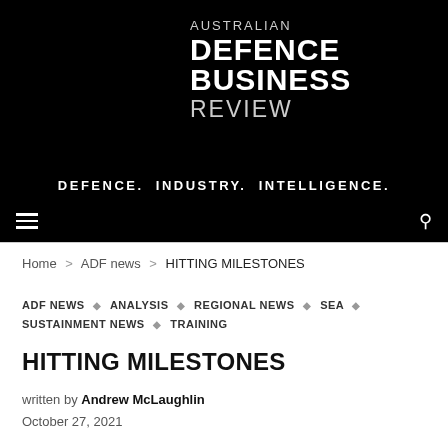[Figure (logo): Australian Defence Business Review logo on black background with tagline DEFENCE. INDUSTRY. INTELLIGENCE.]
Home > ADF news > HITTING MILESTONES
ADF NEWS ◇ ANALYSIS ◇ REGIONAL NEWS ◇ SEA ◇ SUSTAINMENT NEWS ◇ TRAINING
HITTING MILESTONES
written by Andrew McLaughlin
October 27, 2021